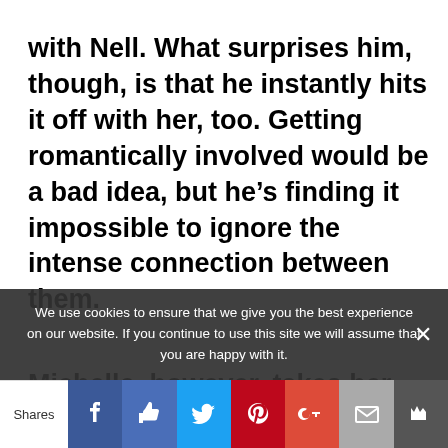with Nell. What surprises him, though, is that he instantly hits it off with her, too. Getting romantically involved would be a bad idea, but he's finding it impossible to ignore the intense connection between them.

Michelle, however, takes her job very seriously, and must decide whether to listen to her head or her heart. And Esa's got to decide if he can give up his bad...
We use cookies to ensure that we give you the best experience on our website. If you continue to use this site we will assume that you are happy with it.
Shares